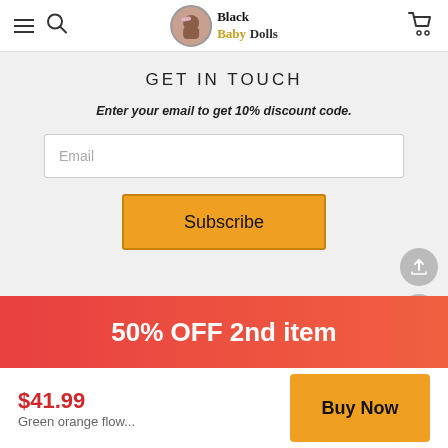Black Baby Dolls
GET IN TOUCH
Enter your email to get 10% discount code.
Email
Subscribe
Copyright © 2022 Blackbabydolls
[Figure (logo): PayPal logo badge]
50% OFF 2nd item
$41.99
Green orange flow...
Buy Now